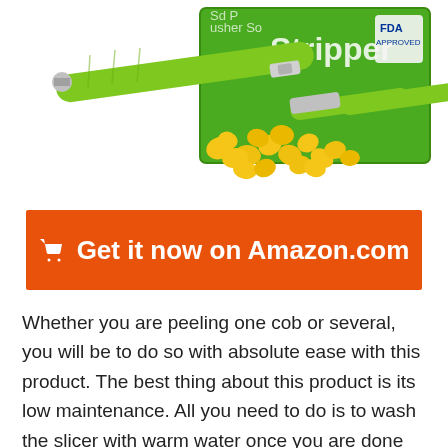[Figure (photo): Product photo showing a green-handled corn stripper tool next to loose corn kernels and a green product box with 'Corn Stripper' text and FDA Approved badge]
🛒  Get it now on Amazon.com
Whether you are peeling one cob or several, you will be to do so with absolute ease with this product. The best thing about this product is its low maintenance. All you need to do is to wash the slicer with warm water once you are done using it. One of the best features of this product is the fact that it comes with a high-quality stainless steel blade. Therefore, it